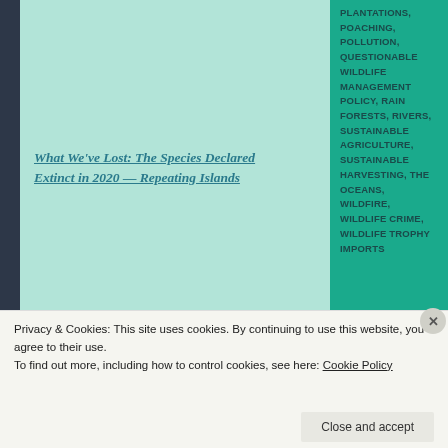PLANTATIONS, POACHING, POLLUTION, QUESTIONABLE WILDLIFE MANAGEMENT POLICY, RAIN FORESTS, RIVERS, SUSTAINABLE AGRICULTURE, SUSTAINABLE HARVESTING, THE OCEANS, WILDFIRE, WILDLIFE CRIME, WILDLIFE TROPHY IMPORTS
What We've Lost: The Species Declared Extinct in 2020 — Repeating Islands
0 COMMENTS
LEAVE A COMMENT
Privacy & Cookies: This site uses cookies. By continuing to use this website, you agree to their use.
To find out more, including how to control cookies, see here: Cookie Policy
Close and accept